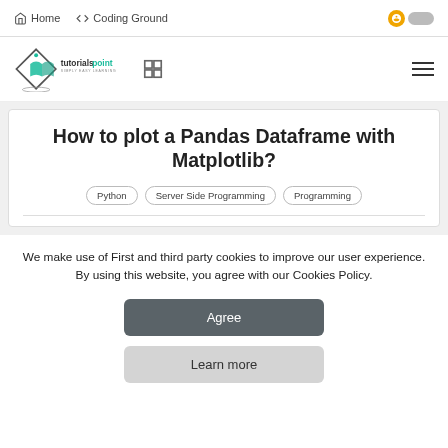Home  </> Coding Ground
[Figure (logo): tutorialspoint logo with diamond shape and book icon, text 'tutorialspoint SIMPLY EASY LEARNING']
How to plot a Pandas Dataframe with Matplotlib?
Python  Server Side Programming  Programming
We make use of First and third party cookies to improve our user experience. By using this website, you agree with our Cookies Policy.
Agree
Learn more